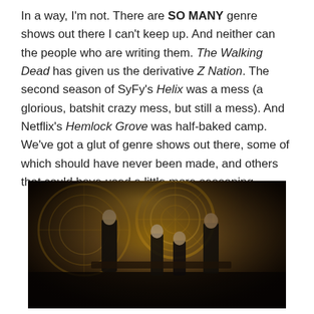In a way, I'm not. There are SO MANY genre shows out there I can't keep up. And neither can the people who are writing them. The Walking Dead has given us the derivative Z Nation. The second season of SyFy's Helix was a mess (a glorious, batshit crazy mess, but still a mess). And Netflix's Hemlock Grove was half-baked camp. We've got a glut of genre shows out there, some of which should have never been made, and others that could have used a little more seasoning.
[Figure (photo): Promotional photo of a TV show cast with four people standing in a dimly lit, steampunk-style room with large circular mechanical windows in the background.]